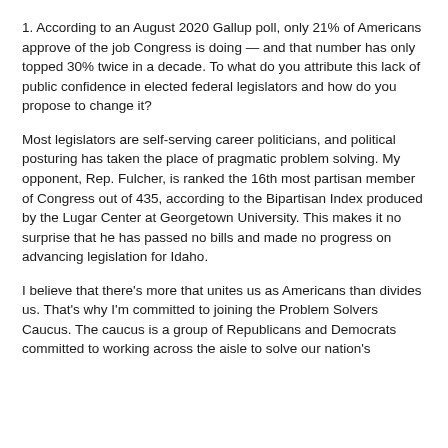1. According to an August 2020 Gallup poll, only 21% of Americans approve of the job Congress is doing — and that number has only topped 30% twice in a decade. To what do you attribute this lack of public confidence in elected federal legislators and how do you propose to change it?
Most legislators are self-serving career politicians, and political posturing has taken the place of pragmatic problem solving. My opponent, Rep. Fulcher, is ranked the 16th most partisan member of Congress out of 435, according to the Bipartisan Index produced by the Lugar Center at Georgetown University. This makes it no surprise that he has passed no bills and made no progress on advancing legislation for Idaho.
I believe that there's more that unites us as Americans than divides us. That's why I'm committed to joining the Problem Solvers Caucus. The caucus is a group of Republicans and Democrats committed to working across the aisle to solve our nation's